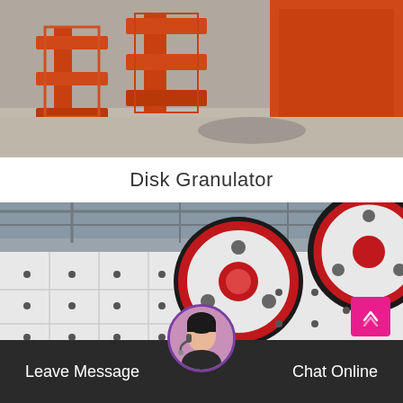[Figure (photo): Industrial factory floor showing orange-painted heavy machinery equipment including what appears to be disk granulator equipment on a concrete floor]
Disk Granulator
[Figure (photo): Industrial jaw crusher machine in a factory with large red and black flywheel pulleys, white painted body with bolted panels and black holes]
[Figure (photo): Customer service representative avatar - woman with headset]
Leave Message   Chat Online